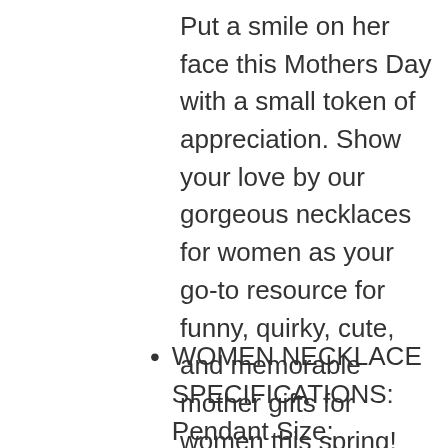Put a smile on her face this Mothers Day with a small token of appreciation. Show your love by our gorgeous necklaces for women as your go-to resource for funny, quirky, cute, and memorable mother gifts for women this spring!
WOMEN NECKLACE SPECIFICATIONS: Pendant Size: 0.98*0.87 inch |Chain Length: 17"+ 2" |Plating: Rose Gold Plated Silver-tone | Clasp: Lobster Claw. Women's jewelry stone: embellished with Austrian Crystals. Wild Heart